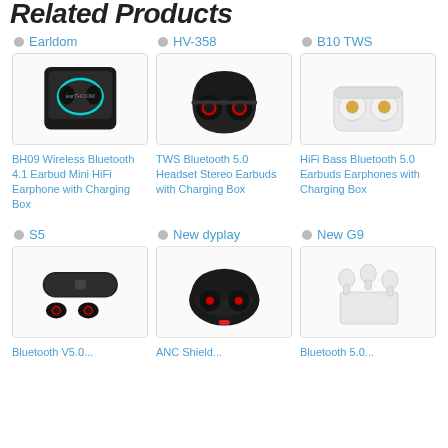Related Products
Earldom
[Figure (photo): Earldom BH09 wireless Bluetooth earbuds with black charging case and teal LED ring]
BH09 Wireless Bluetooth 4.1 Earbud Mini HiFi Earphone with Charging Box
HV-358
[Figure (photo): HV-358 TWS Bluetooth earbuds in open black charging case with red rings]
TWS Bluetooth 5.0 Headset Stereo Earbuds with Charging Box
B10 TWS
[Figure (photo): B10 TWS white HiFi Bass Bluetooth earbuds with white charging case]
HiFi Bass Bluetooth 5.0 Earbuds Earphones with Charging Box
S5
[Figure (photo): S5 Bluetooth earbuds with cylindrical black charging case and two earbuds]
Bluetooth V5.0...
New dyplay
[Figure (photo): New dyplay ANC Shield earbuds in open black oval charging case with red pull tab]
ANC Shield...
New G9
[Figure (photo): New G9 white Bluetooth earbuds with white rectangular charging case]
Bluetooth 5.0...